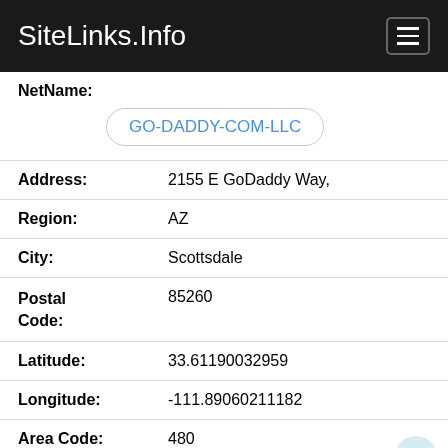SiteLinks.Info
NetName: GO-DADDY-COM-LLC
Address: 2155 E GoDaddy Way,
Region: AZ
City: Scottsdale
Postal Code: 85260
Latitude: 33.61190032959
Longitude: -111.89060211182
Area Code: 480
Email 1. abuse@godaddy.com